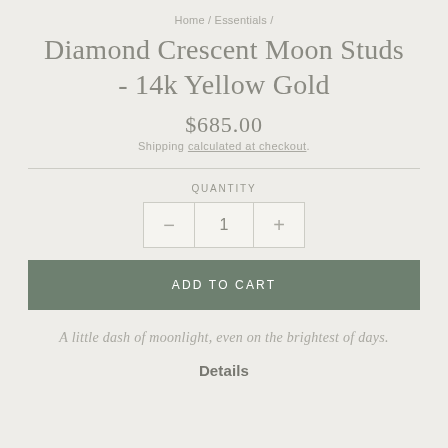Home / Essentials /
Diamond Crescent Moon Studs - 14k Yellow Gold
$685.00
Shipping calculated at checkout.
QUANTITY
1
ADD TO CART
A little dash of moonlight, even on the brightest of days.
Details